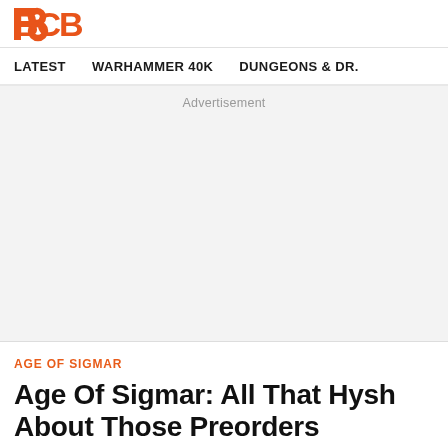BCB (logo)
LATEST   WARHAMMER 40K   DUNGEONS & DR.
[Figure (other): Advertisement placeholder area with grey background and 'Advertisement' label at top center]
AGE OF SIGMAR
Age Of Sigmar: All That Hysh About Those Preorders